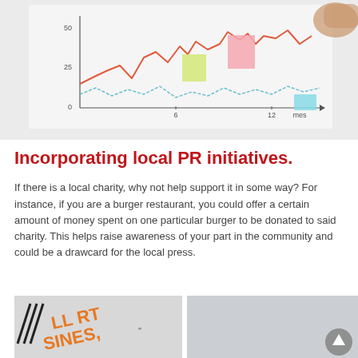[Figure (photo): Photo of a whiteboard with a hand-drawn line chart showing two lines (orange and teal/green) plotted over time (x-axis labeled 'mes', y-axis 0-50), with colorful sticky notes attached to the board. A person's hand is visible reaching toward the chart.]
Incorporating local PR initiatives.
If there is a local charity, why not help support it in some way? For instance, if you are a burger restaurant, you could offer a certain amount of money spent on one particular burger to be donated to said charity. This helps raise awareness of your part in the community and could be a drawcard for the local press.
[Figure (photo): Partial image showing orange bold text graphic on a light gray background, with diagonal black lines on the left side. Text appears to read something like 'SMALL BUSINESS' or similar.]
[Figure (photo): Light gray/blue background photo, partially visible, with a circular scroll-to-top button (upward arrow) in the bottom right corner.]